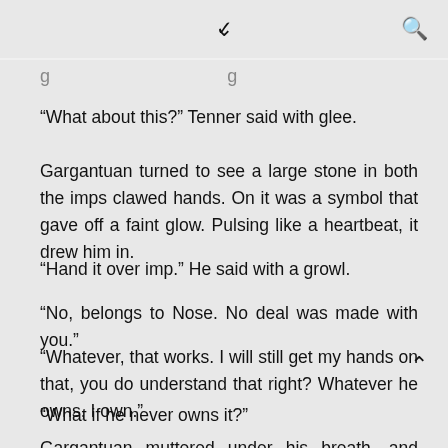✓  🔍
g... ...g
“What about this?” Tenner said with glee.
Gargantuan turned to see a large stone in both the imps clawed hands. On it was a symbol that gave off a faint glow. Pulsing like a heartbeat, it drew him in.
“Hand it over imp.” He said with a growl.
“No, belongs to Nose. No deal was made with you.”
“Whatever, that works. I will still get my hands on that, you do understand that right? Whatever he owns, I own.”
“What if he never owns it?”
Gargantuan muttered under his breath, and looked over to Nose to see dirt fly out of the hole followed by a cheer.